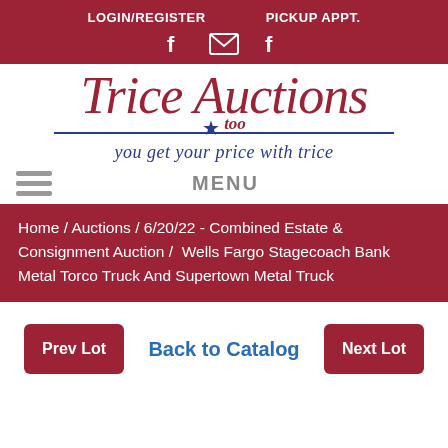LOGIN/REGISTER   PICKUP APPT.
[Figure (logo): Trice Auctions Too logo with cursive red text and blue tagline 'you get your price with trice']
MENU
Home / Auctions / 6/20/22 - Combined Estate & Consignment Auction /  Wells Fargo Stagecoach Bank Metal Torco Truck And Supertown Metal Truck
Prev Lot   Back to Catalog   Next Lot